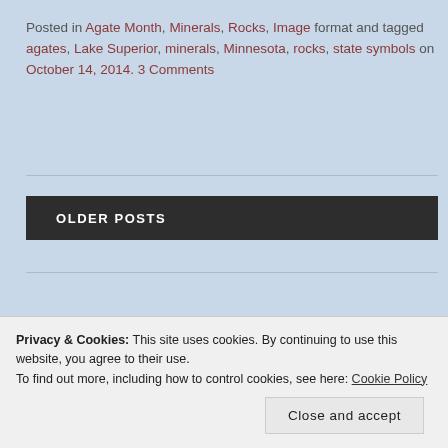Posted in Agate Month, Minerals, Rocks, Image format and tagged agates, Lake Superior, minerals, Minnesota, rocks, state symbols on October 14, 2014. 3 Comments
OLDER POSTS
NEXT MEETING
Privacy & Cookies: This site uses cookies. By continuing to use this website, you agree to their use.
To find out more, including how to control cookies, see here: Cookie Policy
Close and accept